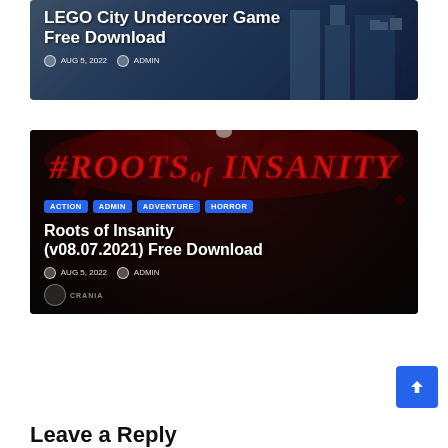[Figure (screenshot): LEGO City Undercover game promotional banner with blue/dark city background]
LEGO City Undercover Game Free Download
AUG 5, 2022   ADMIN
[Figure (screenshot): Roots of Insanity game banner with dark red horror theme, blood splatter background and red title text]
ACTION
ADMIN
ADVENTURE
HORROR
Roots of Insanity (v08.07.2021) Free Download
AUG 5, 2022   ADMIN
Leave a Reply